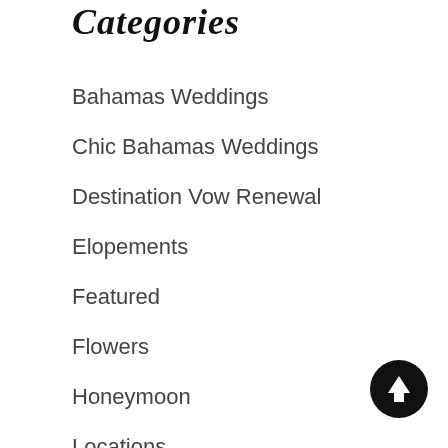Categories
Bahamas Weddings
Chic Bahamas Weddings
Destination Vow Renewal
Elopements
Featured
Flowers
Honeymoon
Locations
News
Planning
[Figure (illustration): Black circular button with white upward arrow icon for scrolling to top]